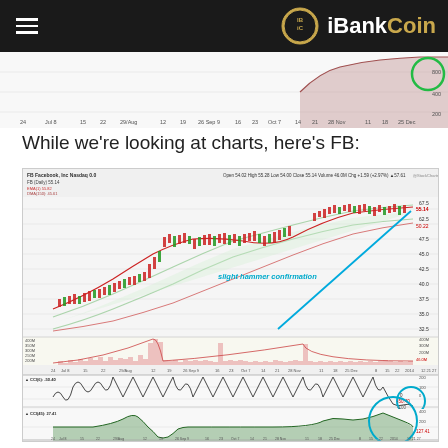iBankCoin
[Figure (continuous-plot): Partial stock chart at top of page, showing price action and volume bars, cropped]
While we're looking at charts, here's FB:
[Figure (continuous-plot): FB Facebook Inc. Nasdaq daily chart from July 2013 to July 2014 showing price candlesticks, moving averages (EMA 1: 55.82, DMA 150: 45.61, MACD), volume bars, CCI(6) indicator at -50.40, and CCI(45) at 27.41. A cyan arrow and annotation reads 'slight hammer confirmation'. Two cyan circles highlight CCI values. A green circle on the top chart.]